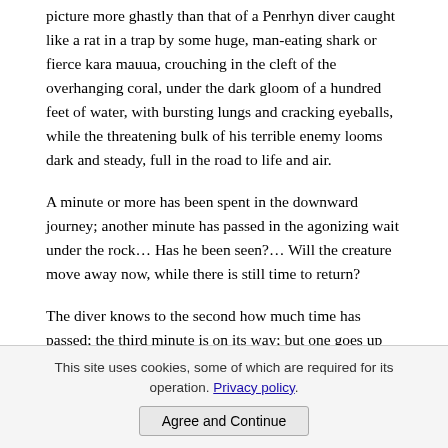picture more ghastly than that of a Penrhyn diver caught like a rat in a trap by some huge, man-eating shark or fierce kara mauua, crouching in the cleft of the overhanging coral, under the dark gloom of a hundred feet of water, with bursting lungs and cracking eyeballs, while the threatening bulk of his terrible enemy looms dark and steady, full in the road to life and air.
A minute or more has been spent in the downward journey; another minute has passed in the agonizing wait under the rock… Has he been seen?… Will the creature move away now, while there is still time to return?
The diver knows to the second how much time has passed; the third minute is on its way; but one goes up quicker than one comes down, and there is still hope….Two minutes and a half; it is barely possible now, but—the sentinel of death glides forward; his cruel eyes, phosphorescent in the gloom, look right into the cleft where the wretched creature is crouching, with almost twenty seconds of life still left, but now not a shred of hope. A few more beats of the laboring pulse, a gasp from the tortured lungs a sudden rush of silvery air bubbles, and the brown limbs collapse down out of the cleft like wreaths of seaweed.
This site uses cookies, some of which are required for its operation. Privacy policy